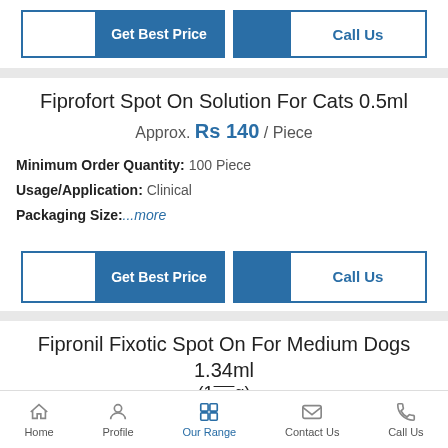[Figure (screenshot): Two buttons: 'Get Best Price' (blue) and 'Call Us' (blue outline)]
Fiprofort Spot On Solution For Cats 0.5ml
Approx. Rs 140 / Piece
Minimum Order Quantity: 100 Piece
Usage/Application: Clinical
Packaging Size:...more
[Figure (screenshot): Two buttons: 'Get Best Price' (blue) and 'Call Us' (blue outline)]
Fipronil Fixotic Spot On For Medium Dogs 1.34ml (10...g)
Home  Profile  Our Range  Contact Us  Call Us